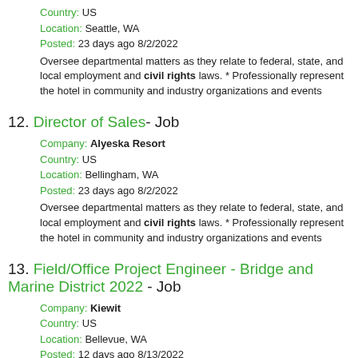Country: US
Location: Seattle, WA
Posted: 23 days ago 8/2/2022
Oversee departmental matters as they relate to federal, state, and local employment and civil rights laws. * Professionally represent the hotel in community and industry organizations and events
12. Director of Sales - Job
Company: Alyeska Resort
Country: US
Location: Bellingham, WA
Posted: 23 days ago 8/2/2022
Oversee departmental matters as they relate to federal, state, and local employment and civil rights laws. * Professionally represent the hotel in community and industry organizations and events
13. Field/Office Project Engineer - Bridge and Marine District 2022 - Job
Company: Kiewit
Country: US
Location: Bellevue, WA
Posted: 12 days ago 8/13/2022
Infrastructure/Heavy Civil project experience is preferred * Ability to freely access all points of ... rights in the provinces where we operate.